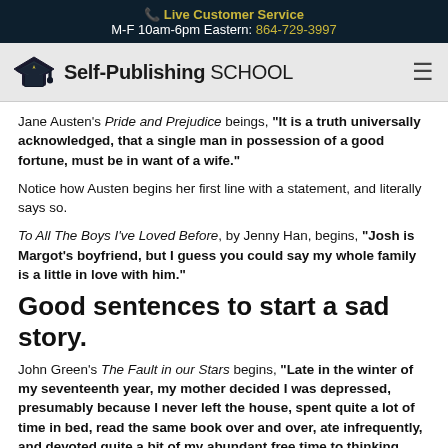📞 Live Customer Service
M-F 10am-6pm Eastern: 864-729-3997
[Figure (logo): Self-Publishing School logo with graduation cap icon]
Jane Austen's Pride and Prejudice beings, "It is a truth universally acknowledged, that a single man in possession of a good fortune, must be in want of a wife."
Notice how Austen begins her first line with a statement, and literally says so.
To All The Boys I've Loved Before, by Jenny Han, begins, "Josh is Margot's boyfriend, but I guess you could say my whole family is a little in love with him."
Good sentences to start a sad story.
John Green's The Fault in our Stars begins, "Late in the winter of my seventeenth year, my mother decided I was depressed, presumably because I never left the house, spent quite a lot of time in bed, read the same book over and over, ate infrequently, and devoted quite a bit of my abundant free time to thinking about death."
The Book Thief, by Markus Zusak, begins, "First the colors. Then the humans. That's how I see things. Or at least, how I try." The protagonist's positive point of view is clearly stated, while the writer also sets a melancholy tone.